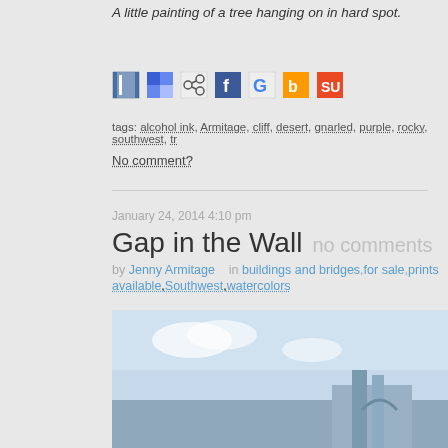A little painting of a tree hanging on in hard spot.
[Figure (other): Social sharing icons: Instapaper, Delicious, ShareThis, Facebook, Google, Buzz, StumbleUpon]
tags: alcohol ink, Armitage, cliff, desert, gnarled, purple, rocky, southwest, tr...
No comment?
January 24, 2014 4:10 pm
Gap in the Wall
no comments
by Jenny Armitage   in buildings and bridges,for sale,prints available,Southwest,watercolors
[Figure (photo): Watercolor painting showing a gap in a wall with a blue sky background and some architectural elements visible at the bottom]